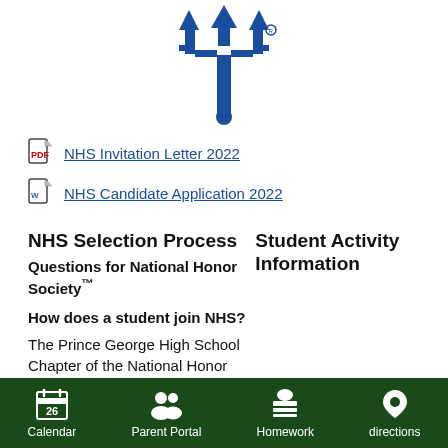[Figure (logo): NHS National Honor Society trident logo in blue]
NHS Invitation Letter 2022
NHS Candidate Application 2022
NHS Selection Process
Student Activity Information
Questions for National Honor Society™
How does a student join NHS?
The Prince George High School Chapter of the National Honor
Calendar | Parent Portal | Homework | directions